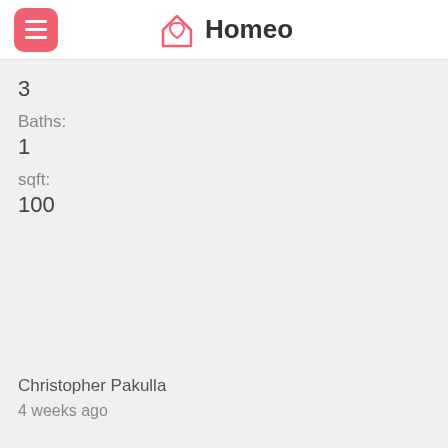Homeo
3
Baths:
1
sqft:
100
Christopher Pakulla
4 weeks ago